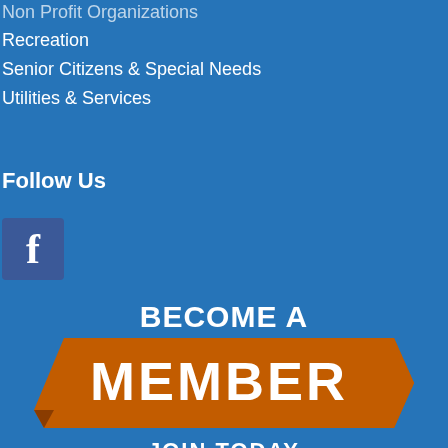Non Profit Organizations
Recreation
Senior Citizens & Special Needs
Utilities & Services
Follow Us
[Figure (logo): Facebook logo icon - blue square with white letter f]
[Figure (infographic): Become a Member - Join Today promotional banner with orange ribbon graphic on blue background]